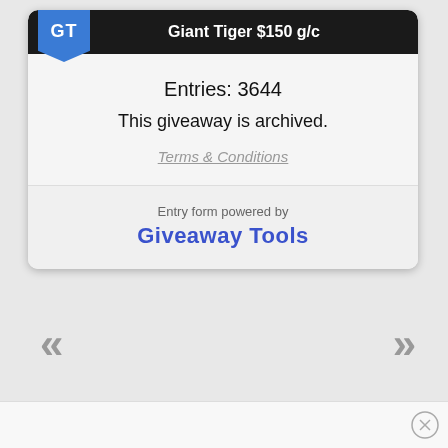Giant Tiger $150 g/c
Entries: 3644
This giveaway is archived.
Terms & Conditions
Entry form powered by Giveaway Tools
«
»